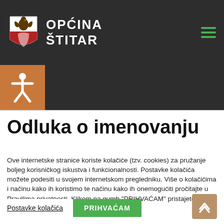OPĆINA ŠTITAR
[Figure (logo): Općina Štitar coat of arms logo with eagle and red shield]
[Figure (illustration): Orange square with white accessibility/person icon]
Odluka o imenovanju
Ove internetske stranice koriste kolačiće (tzv. cookies) za pružanje boljeg korisničkog iskustva i funkcionalnosti. Postavke kolačića možete podesiti u svojem internetskom pregledniku. Više o kolačićima i načinu kako ih koristimo te načinu kako ih onemogućiti pročitajte u Pravilima privatnosti. Klikom na gumb "PRIHVAĆAM" pristajete na korištenje kolačića.
Postavke kolačića
PRIHVAĆAM